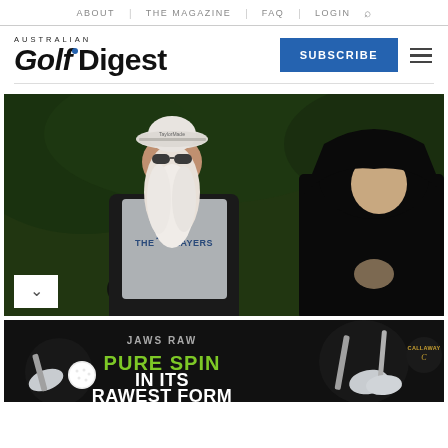ABOUT | THE MAGAZINE | FAQ | LOGIN
[Figure (logo): Australian Golf Digest logo with blue dot, Subscribe button, and hamburger menu icon]
[Figure (photo): Golf caddie with long white beard wearing TaylorMade bucket hat and sunglasses, caddie bib reading THE PLAYERS, standing next to a young golfer in a black hoodie, on a golf course with green background]
[Figure (photo): Callaway advertisement: Jaws Raw - Pure Spin In Its Rawest Form, showing Callaway wedges and golf ball]